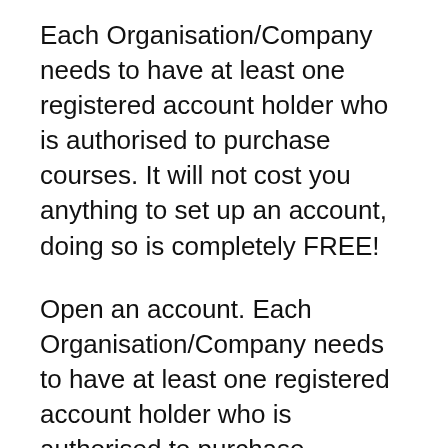Each Organisation/Company needs to have at least one registered account holder who is authorised to purchase courses. It will not cost you anything to set up an account, doing so is completely FREE!
Open an account. Each Organisation/Company needs to have at least one registered account holder who is authorised to purchase courses. It will not cost you anything to set up an account, doing so is completely FREE! It seems like every week there’s a new update in social media or a new app coming out. In this show, we cover the latest news and talk about what social networks you should be using. Start